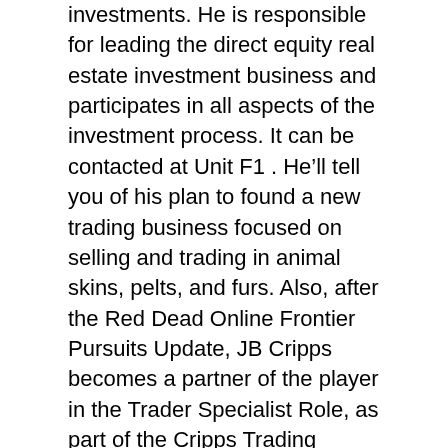investments. He is responsible for leading the direct equity real estate investment business and participates in all aspects of the investment process. It can be contacted at Unit F1 . He'll tell you of his plan to found a new trading business focused on selling and trading in animal skins, pelts, and furs. Also, after the Red Dead Online Frontier Pursuits Update, JB Cripps becomes a partner of the player in the Trader Specialist Role, as part of the Cripps Trading Company. Panjiva helps you find, evaluate and contact buyers of cripps pink. Here are a few tips to quickly rank up. The Homestead is situated in a beautiful location on the farm werf in amongst 200 year old Oak trees: Double storey, 3 bedrooms (2 en-suite, 1 semi en-suite). With offices in Kent and London, the firm offers a flexible team of more than 450 people to deliver exceptional service to its clients. Jude'S. ALL RIGHTS RESERVED. It was registered 2018-05-16. The co-captain gathered 24 disposals, 12 clearances, laid five tackles and slotted two goals as the Blues scrapped for a memorable